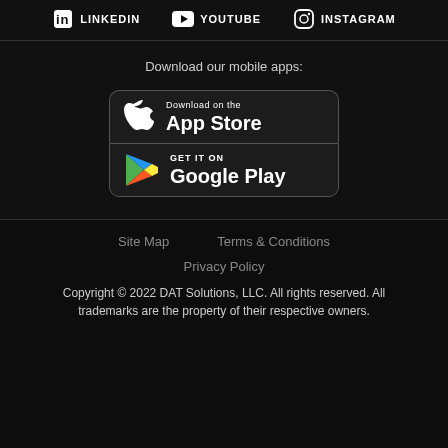LINKEDIN   YOUTUBE   INSTAGRAM
Download our mobile apps:
[Figure (logo): Download on the App Store button with Apple logo]
[Figure (logo): Get it on Google Play button with Google Play triangle logo]
Site Map   Terms & Conditions   Privacy Policy   Copyright © 2022 DAT Solutions, LLC. All rights reserved. All trademarks are the property of their respective owners.